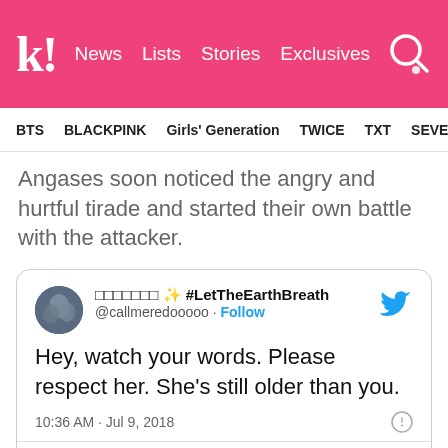kl! News Lists Stories Exclusives
BTS BLACKPINK Girls' Generation TWICE TXT SEVE
Angases soon noticed the angry and hurtful tirade and started their own battle with the attacker.
[Figure (screenshot): Embedded tweet card from @callmeredooooo with hashtag #LetTheEarthBreath saying: Hey, watch your words. Please respect her. She's still older than you. Posted at 10:36 AM · Jul 9, 2018. Shows 112 likes, Reply and Copy link actions, and Read 1 reply button.]